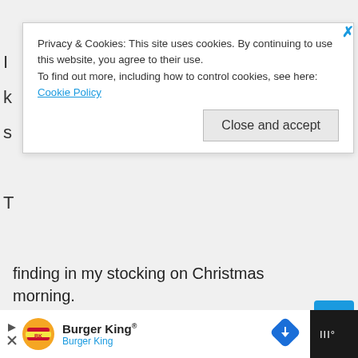finding in my stocking on Christmas morning.
Privacy & Cookies: This site uses cookies. By continuing to use this website, you agree to their use.
To find out more, including how to control cookies, see here: Cookie Policy
Close and accept
[Figure (screenshot): Advertisement banner: Give support to people recovering from crisis. Make a year-end donation.]
[Figure (screenshot): Like/heart button (teal blue square) and share button (white circle)]
[Figure (screenshot): Bottom advertisement bar with Burger King logo and navigation arrow]